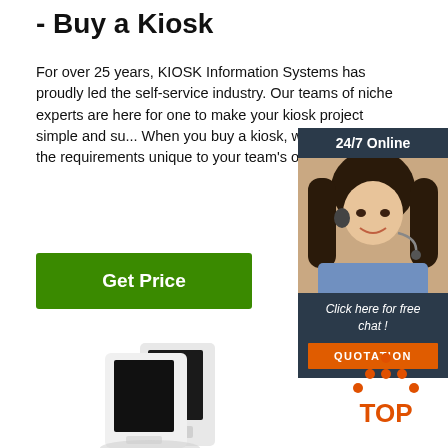- Buy a Kiosk
For over 25 years, KIOSK Information Systems has proudly led the self-service industry. Our teams of niche experts are here for one to make your kiosk project simple and su... When you buy a kiosk, we implement the requirements unique to your team's obje...
[Figure (other): Green Get Price button]
[Figure (other): 24/7 Online chat widget with a photo of a female customer service agent wearing a headset, dark background with text 'Click here for free chat!' and an orange QUOTATION button]
[Figure (photo): White kiosk product units - two white self-service kiosk terminals side by side]
[Figure (logo): TOP logo - orange dots arranged in triangle above the word TOP in orange]